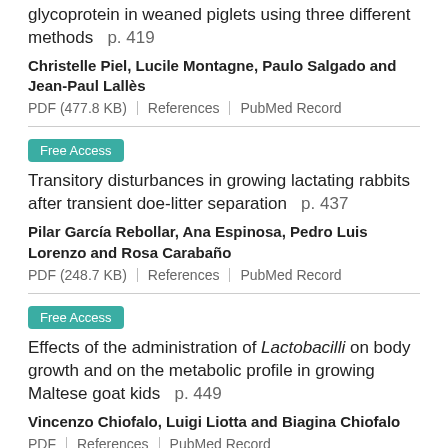glycoprotein in weaned piglets using three different methods   p. 419
Christelle Piel, Lucile Montagne, Paulo Salgado and Jean-Paul Lallès
PDF (477.8 KB) | References | PubMed Record
Free Access
Transitory disturbances in growing lactating rabbits after transient doe-litter separation   p. 437
Pilar García Rebollar, Ana Espinosa, Pedro Luis Lorenzo and Rosa Carabaño
PDF (248.7 KB) | References | PubMed Record
Free Access
Effects of the administration of Lactobacilli on body growth and on the metabolic profile in growing Maltese goat kids   p. 449
Vincenzo Chiofalo, Luigi Liotta and Biagina Chiofalo
PDF | References | PubMed Record